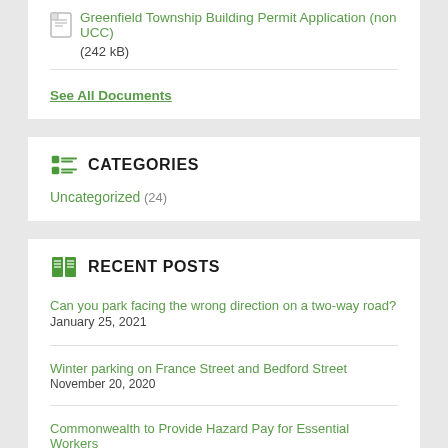Greenfield Township Building Permit Application (non UCC) (242 kB)
See All Documents
CATEGORIES
Uncategorized (24)
RECENT POSTS
Can you park facing the wrong direction on a two-way road? January 25, 2021
Winter parking on France Street and Bedford Street November 20, 2020
Commonwealth to Provide Hazard Pay for Essential Workers July 17, 2020